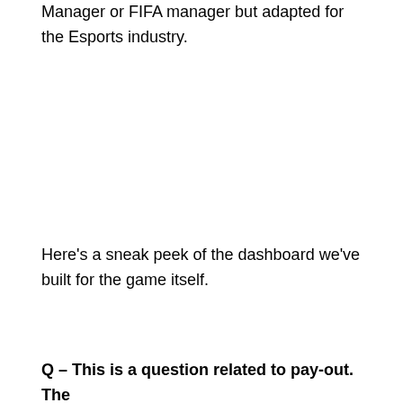Manager or FIFA manager but adapted for the Esports industry.
Here's a sneak peek of the dashboard we've built for the game itself.
Q – This is a question related to pay-out. The